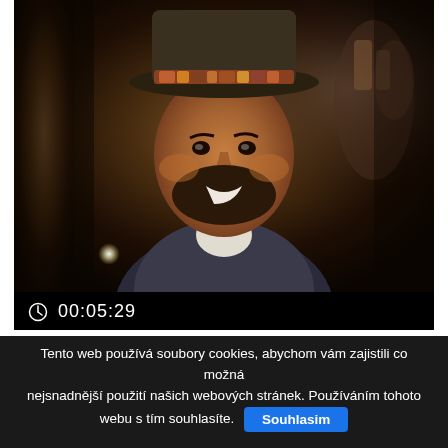[Figure (photo): Video thumbnail showing a man wearing a hat with a decorative band, smiling, with a video duration overlay bar showing a clock icon and timestamp 00:05:29 at the bottom of the image.]
Marek Ztracený – Dvě láhve vína (Lajlalal...
Tento web používá soubory cookies, abychom vám zajistili co možná nejsnadnější použití našich webových stránek. Používáním tohoto webu s tím souhlasíte. Souhlasim